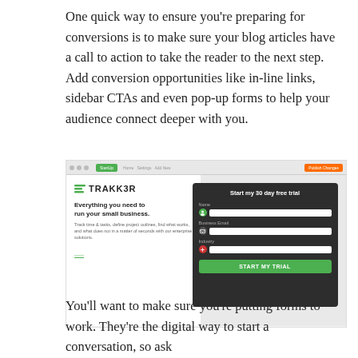One quick way to ensure you're preparing for conversions is to make sure your blog articles have a call to action to take the reader to the next step. Add conversion opportunities like in-line links, sidebar CTAs and even pop-up forms to help your audience connect deeper with you.
[Figure (screenshot): Screenshot of a web page builder showing a Trakker landing page with a pop-up modal form reading 'Start my 30 day free trial' with Name, Business Email, and Industry fields and a green 'START MY TRIAL' button.]
You'll want to make sure you're putting forms to work. They're the digital way to start a conversation, so ask